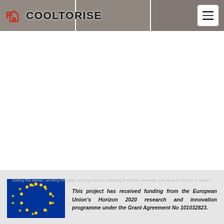COOLTORISE
[Figure (photo): Header image strip showing photos of people/events in three panels with COOLTORISE logo and hamburger menu button overlaid]
[Figure (photo): EU flag with yellow stars on blue background]
This project has received funding from the European Union's Horizon 2020 research and innovation programme under the Grant Agreement No 101032823.
Social media icons: Facebook, Twitter, YouTube, LinkedIn